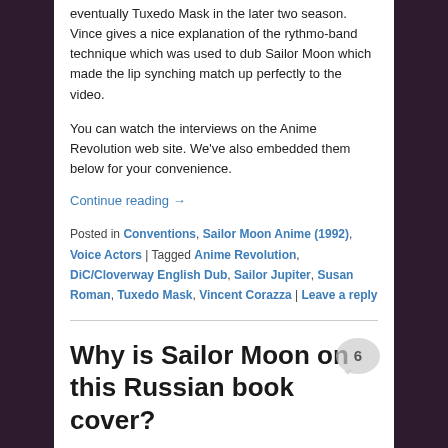eventually Tuxedo Mask in the later two season. Vince gives a nice explanation of the rythmo-band technique which was used to dub Sailor Moon which made the lip synching match up perfectly to the video.
You can watch the interviews on the Anime Revolution web site. We've also embedded them below for your convenience.
Continue reading →
Posted in Conventions, Sailor Moon Anime (1992), Voice Actors | Tagged Anime Revolution, DiC/Cloverway English Dub, Sailor Jupiter, Susan Roman, Tuxedo Mask, Vincent Corazza | Leave a reply
Why is Sailor Moon on this Russian book cover?
Posted on September 23, 2012